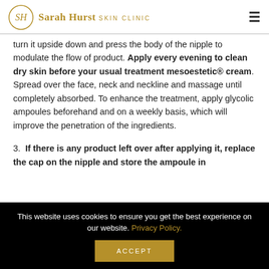Sarah Hurst SKIN CLINIC
turn it upside down and press the body of the nipple to modulate the flow of product. Apply every evening to clean dry skin before your usual treatment mesoestetic® cream. Spread over the face, neck and neckline and massage until completely absorbed. To enhance the treatment, apply glycolic ampoules beforehand and on a weekly basis, which will improve the penetration of the ingredients.
3. If there is any product left over after applying it, replace the cap on the nipple and store the ampoule in
This website uses cookies to ensure you get the best experience on our website. Privacy Policy.
ACCEPT